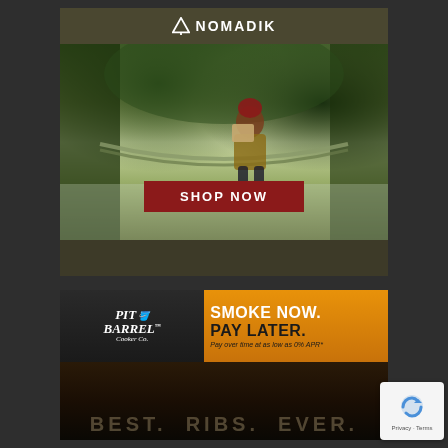[Figure (infographic): Nomadik subscription box advertisement. Top header with white tent logo and NOMADIK text in white on dark olive background. Main image shows a woman in a red beanie sitting in a hammock between trees, holding a Nomadik box. A red button reads SHOP NOW.]
[Figure (infographic): Pit Barrel Cooker Co. advertisement. Left side dark background with Pit Barrel Cooker Co. logo in white script. Right side orange background with white text SMOKE NOW. and dark text PAY LATER. and smaller italic text 'Pay over time at as low as 0% APR*'. Bottom shows dark image of meat with watermark text BEST. RIBS. EVER.]